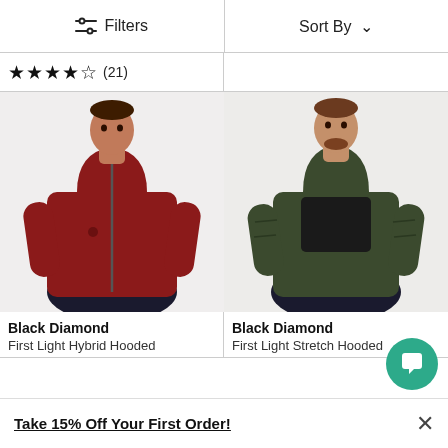Filters | Sort By
★★★★☆ (21)
[Figure (photo): Man wearing a dark red/burgundy Black Diamond hooded jacket, front view]
[Figure (photo): Man wearing a dark olive green Black Diamond hooded hybrid jacket, front view]
Black Diamond
First Light Hybrid Hooded
Black Diamond
First Light Stretch Hooded
Take 15% Off Your First Order!